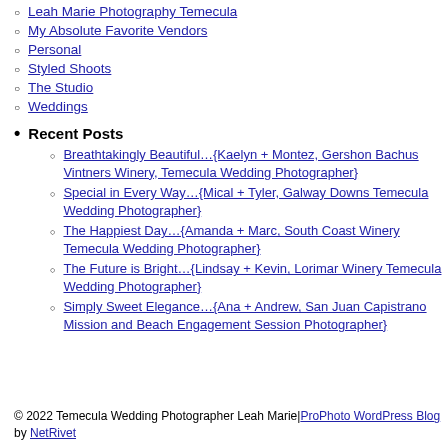Leah Marie Photography Temecula
My Absolute Favorite Vendors
Personal
Styled Shoots
The Studio
Weddings
Recent Posts
Breathtakingly Beautiful…{Kaelyn + Montez, Gershon Bachus Vintners Winery, Temecula Wedding Photographer}
Special in Every Way…{Mical + Tyler, Galway Downs Temecula Wedding Photographer}
The Happiest Day…{Amanda + Marc, South Coast Winery Temecula Wedding Photographer}
The Future is Bright…{Lindsay + Kevin, Lorimar Winery Temecula Wedding Photographer}
Simply Sweet Elegance…{Ana + Andrew, San Juan Capistrano Mission and Beach Engagement Session Photographer}
© 2022 Temecula Wedding Photographer Leah Marie|ProPhoto WordPress Blog by NetRivet